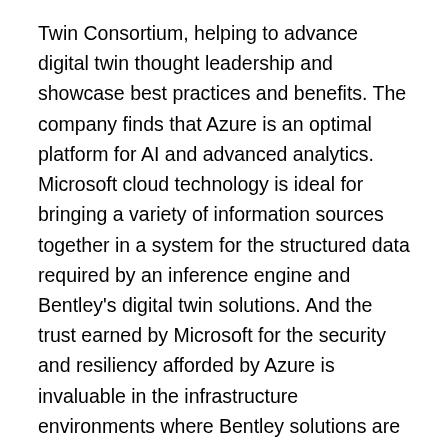Twin Consortium, helping to advance digital twin thought leadership and showcase best practices and benefits. The company finds that Azure is an optimal platform for AI and advanced analytics. Microsoft cloud technology is ideal for bringing a variety of information sources together in a system for the structured data required by an inference engine and Bentley's digital twin solutions. And the trust earned by Microsoft for the security and resiliency afforded by Azure is invaluable in the infrastructure environments where Bentley solutions are deployed.
Azure enables organizations of all sizes and across industry verticals to achieve their short- and long-term goals with a proven cloud infrastructure designed to help create and align business and technical strategies. With Azure AI services, organizations can build mission-critical solutions to analyze images, comprehend speech,